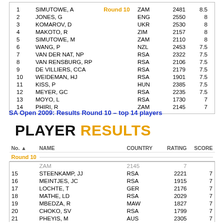| No. | NAME |  | COUNTRY | RATING | SCORE |
| --- | --- | --- | --- | --- | --- |
| 1 | SIMUTOWE, A | Round 10 | ZAM | 2481 | 8.5 |
| 2 | JONES, G |  | ENG | 2550 | 8 |
| 3 | KOMAROV, D |  | UKR | 2530 | 8 |
| 4 | MAKOTO, R |  | ZIM | 2157 | 8 |
| 5 | SIMUTOWE, M |  | ZAM | 2110 | 8 |
| 6 | WANG, P |  | NZL | 2453 | 7.5 |
| 7 | VAN DER NAT, NP |  | RSA | 2322 | 7.5 |
| 8 | VAN RENSBURG, RP |  | RSA | 2106 | 7.5 |
| 9 | DE VILLIERS, CCA |  | RSA | 2179 | 7.5 |
| 10 | WEIDEMAN, HJ |  | RSA | 1901 | 7.5 |
| 11 | KISS, P |  | HUN | 2385 | 7.5 |
| 12 | MEYER, GC |  | RSA | 2235 | 7.5 |
| 13 | MOYO, L |  | RSA | 1730 | 7 |
| 14 | PHIRI, R |  | ZAM | 2145 | 7 |
SA Open 2009: Results Round 10 – top 14 players
PLAYER RESULTS
| No. | NAME | COUNTRY | RATING | SCORE |
| --- | --- | --- | --- | --- |
|  | ZAM | 2145 | 7 |  |
| 15 | STEENKAMP, JJ | RSA | 2221 | 7 |
| 16 | MEINTJES, JC | RSA | 1915 | 7 |
| 17 | LOCHTE, T | GER | 2176 | 7 |
| 18 | MATHE, LD | RSA | 2029 | 7 |
| 19 | MBEDZA, R | MAW | 1827 | 7 |
| 20 | CHOKO, SV | RSA | 1799 | 7 |
| 21 | PHEYIS, M | AUS | 2305 | 7 |